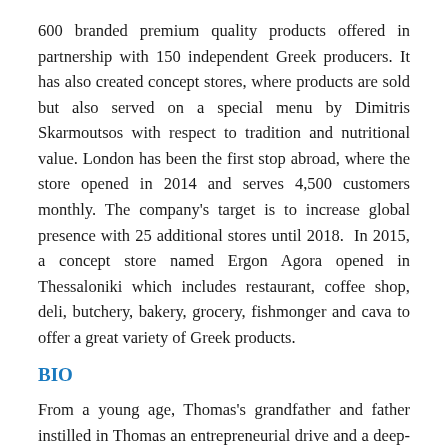600 branded premium quality products offered in partnership with 150 independent Greek producers. It has also created concept stores, where products are sold but also served on a special menu by Dimitris Skarmoutsos with respect to tradition and nutritional value. London has been the first stop abroad, where the store opened in 2014 and serves 4,500 customers monthly. The company's target is to increase global presence with 25 additional stores until 2018. In 2015, a concept store named Ergon Agora opened in Thessaloniki which includes restaurant, coffee shop, deli, butchery, bakery, grocery, fishmonger and cava to offer a great variety of Greek products.
BIO
From a young age, Thomas's grandfather and father instilled in Thomas an entrepreneurial drive and a deep-rooted love of Greek cuisine. With a passion for food and an eye for design, Thomas attended the University of Macedonia, earning a degree in Applied Informatics in Economics. Following graduation, Thomas joined the